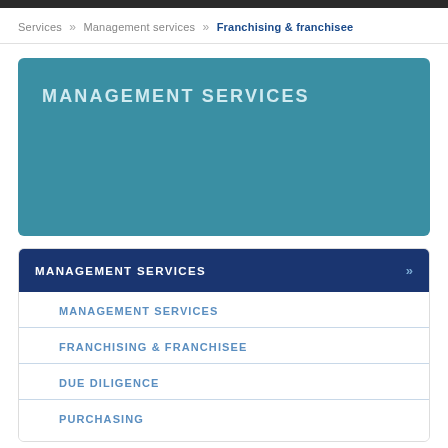Services » Management services » Franchising & franchisee
MANAGEMENT SERVICES
MANAGEMENT SERVICES
MANAGEMENT SERVICES
FRANCHISING & FRANCHISEE
DUE DILIGENCE
PURCHASING